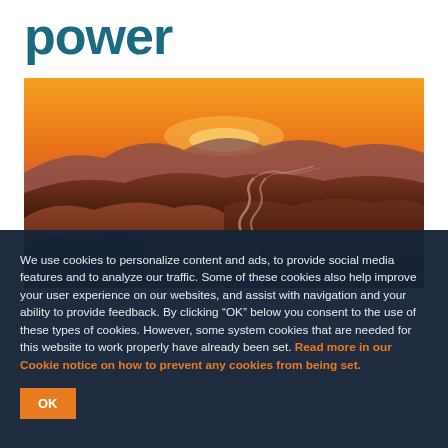power
[Figure (photo): Aerial landscape photo of winding mountain roads at sunset with orange and purple sky and brown arid hills]
possible, some key policy issues will need to be addressed. Energy experts will explain the issues as outlined in an updated white paper during a webinar.
We use cookies to personalize content and ads, to provide social media features and to analyze our traffic. Some of these cookies also help improve your user experience on our websites, and assist with navigation and your ability to provide feedback. By clicking “OK” below you consent to the use of these types of cookies. However, some system cookies that are needed for this website to work properly have already been set. Read more in our Cookie notice on how to prevent any cookies from being set.